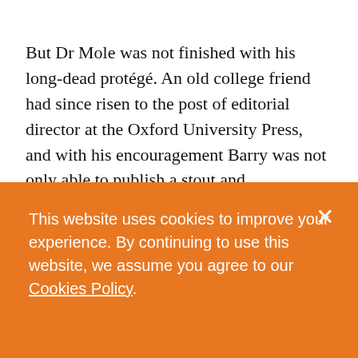But Dr Mole was not finished with his long-dead protégé. An old college friend had since risen to the post of editorial director at the Oxford University Press, and with his encouragement Barry was not only able to publish a stout and authoritative volume entitled Smallbeer: Thirties Titan, but to introduce and annotate an edition of his Collected Poems.
This website uses cookies to improve your experience. By continuing to use this website, we assume you agree to our Cookies Policy.